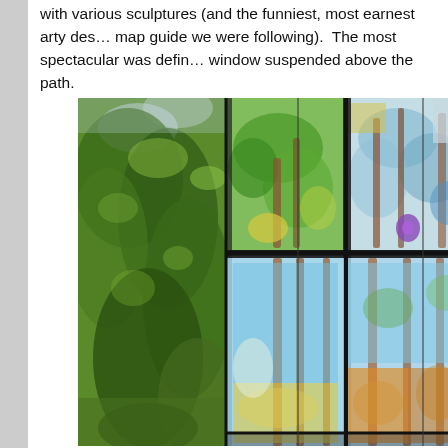with various sculptures (and the funniest, most earnest arty descriptions in the map guide we were following).  The most spectacular was defin... window suspended above the path.
[Figure (photo): A large outdoor stained glass window installation suspended above a path, photographed from below. The left portion shows green trees and foliage against a bright sky. The right portion shows large panels of colorful stained glass with green, blue, yellow, orange, and red geometric and organic patterns, separated by dark lead lines and structural metal framing.]